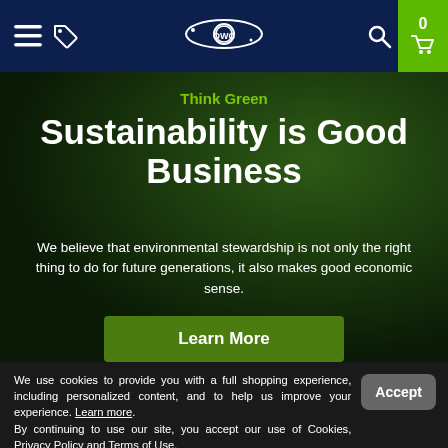[Figure (screenshot): OWC website navigation bar with hamburger menu, tag icon, OWC logo (planet/orbit style), search icon, and green cart badge showing 0 items]
[Figure (photo): Hero image section with dark green background showing outdoor scene with poles/posts]
Think Green
Sustainability is Good Business
We believe that environmental stewardship is not only the right thing to do for future generations, it also makes good economic sense.
Learn More
We use cookies to provide you with a full shopping experience, including personalized content, and to help us improve your experience. Learn more. By continuing to use our site, you accept our use of Cookies, Privacy Policy and Terms of Use.